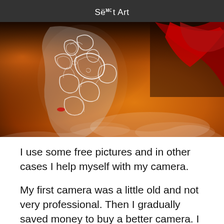Sëet Art
[Figure (illustration): Digital artwork showing a side profile of a face made of intricate white swirling filigree patterns, with red flowing hair and a warm amber/orange smoky background]
I use some free pictures and in other cases I help myself with my camera.
My first camera was a little old and not very professional. Then I gradually saved money to buy a better camera. I currently own a Nikon D7000. I